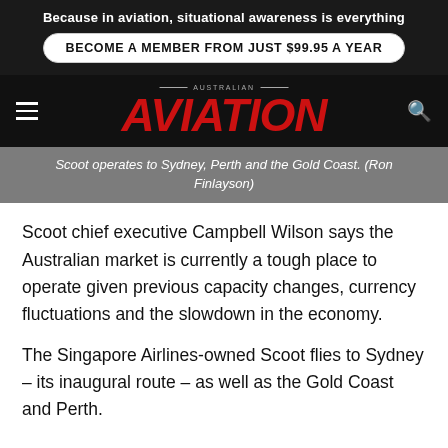Because in aviation, situational awareness is everything
BECOME A MEMBER FROM JUST $99.95 A YEAR
AUSTRALIAN AVIATION
Scoot operates to Sydney, Perth and the Gold Coast. (Ron Finlayson)
Scoot chief executive Campbell Wilson says the Australian market is currently a tough place to operate given previous capacity changes, currency fluctuations and the slowdown in the economy.
The Singapore Airlines-owned Scoot flies to Sydney – its inaugural route – as well as the Gold Coast and Perth.